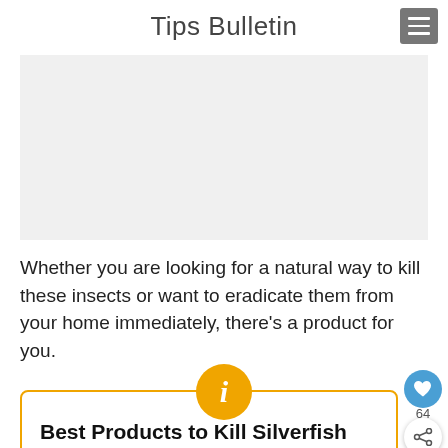Tips Bulletin
[Figure (other): Gray advertisement placeholder box]
Whether you are looking for a natural way to kill these insects or want to eradicate them from your home immediately, there's a product for you.
Best Products to Kill Silverfish
Diatomaceous earth